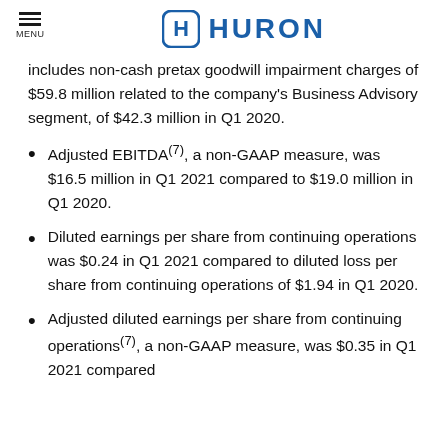MENU | HURON
includes non-cash pretax goodwill impairment charges of $59.8 million related to the company's Business Advisory segment, of $42.3 million in Q1 2020.
Adjusted EBITDA(7), a non-GAAP measure, was $16.5 million in Q1 2021 compared to $19.0 million in Q1 2020.
Diluted earnings per share from continuing operations was $0.24 in Q1 2021 compared to diluted loss per share from continuing operations of $1.94 in Q1 2020.
Adjusted diluted earnings per share from continuing operations(7), a non-GAAP measure, was $0.35 in Q1 2021 compared